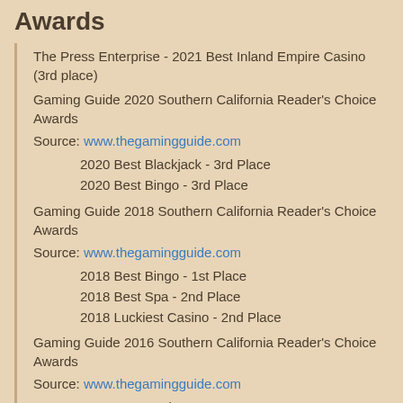Awards
The Press Enterprise - 2021 Best Inland Empire Casino (3rd place)
Gaming Guide 2020 Southern California Reader’s Choice Awards
Source: www.thegamingguide.com
2020 Best Blackjack - 3rd Place
2020 Best Bingo - 3rd Place
Gaming Guide 2018 Southern California Reader’s Choice Awards
Source: www.thegamingguide.com
2018 Best Bingo - 1st Place
2018 Best Spa - 2nd Place
2018 Luckiest Casino - 2nd Place
Gaming Guide 2016 Southern California Reader’s Choice Awards
Source: www.thegamingguide.com
2016 Best Casino Resort